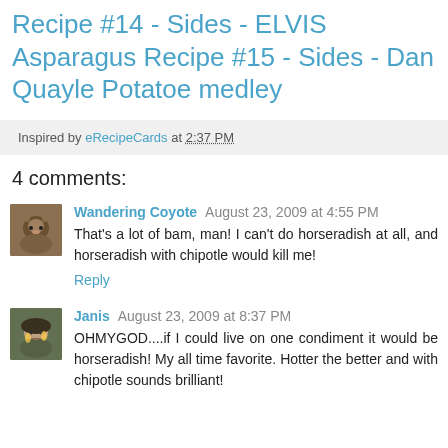Recipe #14 - Sides - ELVIS Asparagus Recipe #15 - Sides - Dan Quayle Potatoe medley
Inspired by eRecipeCards at 2:37 PM
4 comments:
Wandering Coyote August 23, 2009 at 4:55 PM
That's a lot of bam, man! I can't do horseradish at all, and horseradish with chipotle would kill me!
Reply
Janis August 23, 2009 at 8:37 PM
OHMYGOD....if I could live on one condiment it would be horseradish! My all time favorite. Hotter the better and with chipotle sounds brilliant!